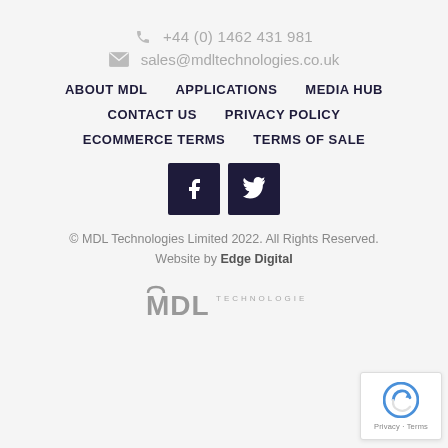+44 (0) 1462 431 981
sales@mdltechnologies.co.uk
ABOUT MDL
APPLICATIONS
MEDIA HUB
CONTACT US
PRIVACY POLICY
ECOMMERCE TERMS
TERMS OF SALE
[Figure (logo): Facebook and Twitter social media icon buttons (dark navy square buttons with white icons)]
© MDL Technologies Limited 2022. All Rights Reserved. Website by Edge Digital
[Figure (logo): MDL Technologies logo in grey]
[Figure (other): reCAPTCHA widget with Privacy and Terms links]